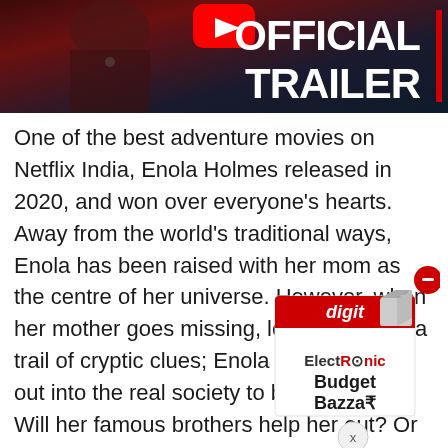[Figure (screenshot): YouTube official trailer thumbnail showing a woman in dark clothing with 'OFFICIAL TRAILER' text in bold white on dark background, with red vertical bar and YouTube play button icon]
One of the best adventure movies on Netflix India, Enola Holmes released in 2020, and won over everyone's hearts. Away from the world's traditional ways, Enola has been raised with her mom as the centre of her universe. However, when her mother goes missing, leaving behind a trail of cryptic clues; Enola must venture out into the real society to bring her back. Will her famous brothers help her out? Or will she make this journey on her own?
[Figure (advertisement): Advertisement box for 'ElectROnic Budget Bazzar' with a white 3D cube/box graphic, digit logo at top, close button (red circle with minus), and X dismiss button at bottom]